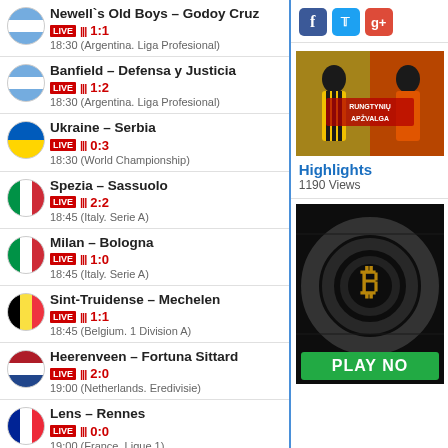Newell`s Old Boys – Godoy Cruz LIVE ||| 1:1 18:30 (Argentina. Liga Profesional)
Banfield – Defensa y Justicia LIVE ||| 1:2 18:30 (Argentina. Liga Profesional)
Ukraine – Serbia LIVE ||| 0:3 18:30 (World Championship)
Spezia – Sassuolo LIVE ||| 2:2 18:45 (Italy. Serie A)
Milan – Bologna LIVE ||| 1:0 18:45 (Italy. Serie A)
Sint-Truidense – Mechelen LIVE ||| 1:1 18:45 (Belgium. 1 Division A)
Heerenveen – Fortuna Sittard LIVE ||| 2:0 19:00 (Netherlands. Eredivisie)
Lens – Rennes LIVE ||| 0:0 19:00 (France. Ligue 1)
Toronto – LA Angels LIVE ||| 0:0 19:07 (MLB)
Italy – Canada LIVE ||| 1:0 19:15 (World Championship)
Sporting – Chaves LIVE ||| ...
[Figure (screenshot): Social media icons: Facebook, Twitter, Google+]
[Figure (photo): Highlights thumbnail showing two football players, one in yellow/black kit and one in orange kit, with Lithuanian text RUNGTYNIŲ APŽVALGA]
Highlights
1190 Views
[Figure (photo): Cryptocurrency advertisement with bitcoin coin image and green PLAY NO button]